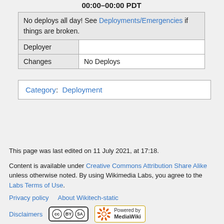| 00:00–00:00 PDT |
| No deploys all day! See Deployments/Emergencies if things are broken. |
| Deployer |  |
| Changes | No Deploys |
Category:  Deployment
This page was last edited on 11 July 2021, at 17:18.
Content is available under Creative Commons Attribution Share Alike unless otherwise noted. By using Wikimedia Labs, you agree to the Labs Terms of Use.
Privacy policy   About Wikitech-static
Disclaimers